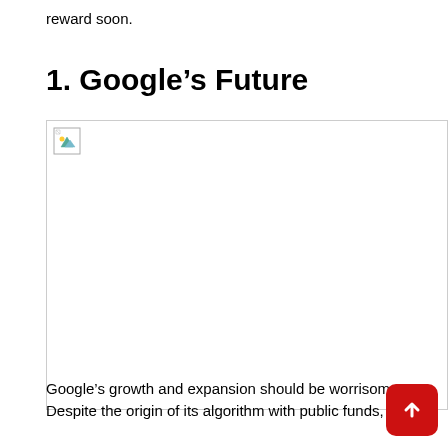reward soon.
1. Google's Future
[Figure (other): Broken/missing image placeholder with small icon in top-left corner and border outline]
Google's growth and expansion should be worrisome. Despite the origin of its algorithm with public funds,